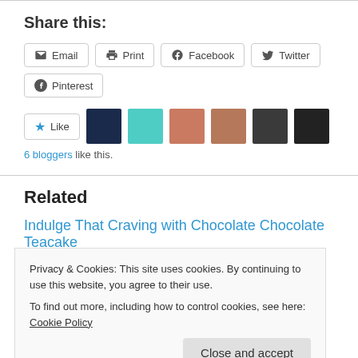Share this:
Email  Print  Facebook  Twitter  Pinterest
Like  6 bloggers like this.
Related
Indulge That Craving with Chocolate Chocolate Teacake
October 6, 2014
In "Cakes"
Privacy & Cookies: This site uses cookies. By continuing to use this website, you agree to their use.
To find out more, including how to control cookies, see here: Cookie Policy
Close and accept